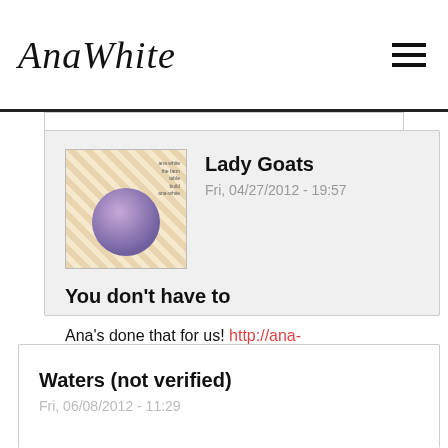AnaWhite
Lady Goats
Fri, 04/27/2012 - 19:57
You don't have to
Ana's done that for us! http://ana-white.com/2010/09/square-modern-farmhouse-table
Log in or register to post comments
Waters (not verified)
Fri, 06/08/2012 - 11:29